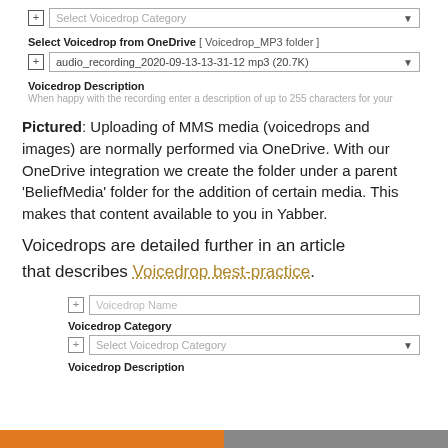[Figure (screenshot): UI screenshot showing Select Voicedrop Category dropdown at top]
Select Voicedrop from OneDrive [ Voicedrop_MP3 folder ]
[Figure (screenshot): Dropdown showing audio_recording_2020-09-13-13-31-12 mp3 (20.7K)]
Voicedrop Description
When happy with the recording enter a description of up to 255 characters for your
Pictured: Uploading of MMS media (voicedrops and images) are normally performed via OneDrive. With our OneDrive integration we create the folder under a parent 'BeliefMedia' folder for the addition of certain media. This makes that content available to you in Yabber.
Voicedrops are detailed further in an article that describes Voicedrop best-practice.
[Figure (screenshot): Voicedrop Name input field, Voicedrop Category label, Select Voicedrop Category dropdown, Voicedrop Description label]